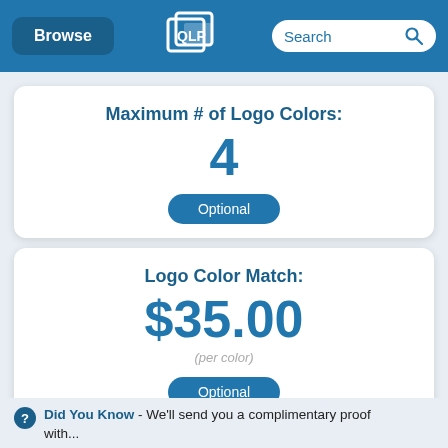Browse | [logo] | Search
Maximum # of Logo Colors:
4
Optional
Logo Color Match:
$35.00
(per color)
Optional
Did You Know - We'll send you a complimentary proof with...